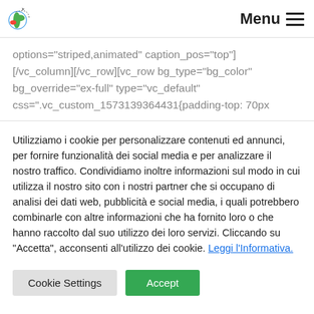Menu
options="striped,animated" caption_pos="top"] [/vc_column][/vc_row][vc_row bg_type="bg_color" bg_override="ex-full" type="vc_default" css=".vc_custom_1573139364431{padding-top: 70px
Utilizziamo i cookie per personalizzare contenuti ed annunci, per fornire funzionalità dei social media e per analizzare il nostro traffico. Condividiamo inoltre informazioni sul modo in cui utilizza il nostro sito con i nostri partner che si occupano di analisi dei dati web, pubblicità e social media, i quali potrebbero combinarle con altre informazioni che ha fornito loro o che hanno raccolto dal suo utilizzo dei loro servizi. Cliccando su "Accetta", acconsenti all'utilizzo dei cookie. Leggi l'Informativa.